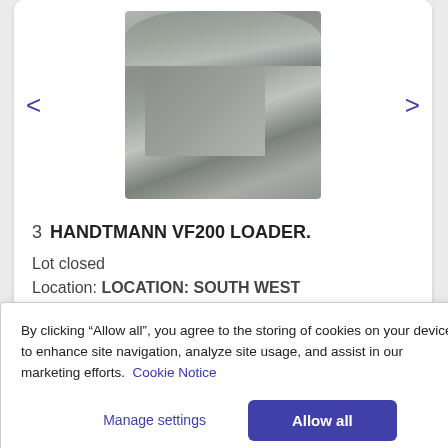[Figure (photo): Photo of a Handtmann VF200 Loader industrial machine, stainless steel, with a hopper on top and a control panel, in a food processing facility setting.]
3  HANDTMANN VF200 LOADER.
Lot closed
Location: LOCATION: SOUTH WEST
By clicking “Allow all”, you agree to the storing of cookies on your device to enhance site navigation, analyze site usage, and assist in our marketing efforts.  Cookie Notice
Manage settings
Allow all